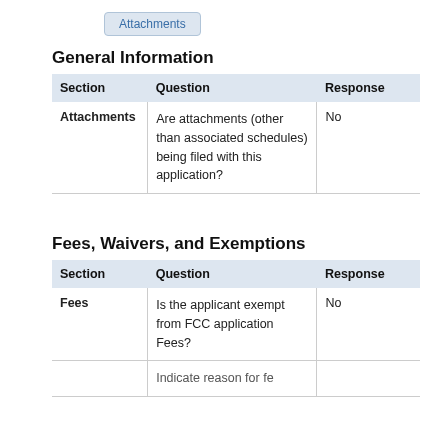Attachments
General Information
| Section | Question | Response |
| --- | --- | --- |
| Attachments | Are attachments (other than associated schedules) being filed with this application? | No |
Fees, Waivers, and Exemptions
| Section | Question | Response |
| --- | --- | --- |
| Fees | Is the applicant exempt from FCC application Fees? | No |
|  | Indicate reason for... |  |